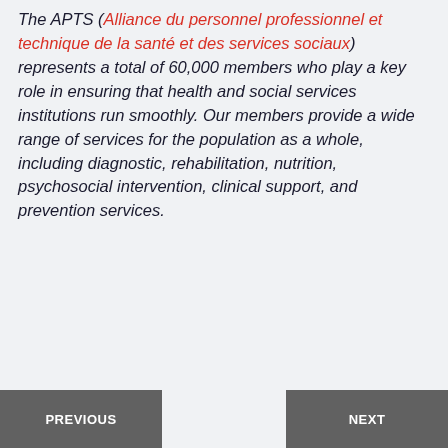The APTS (Alliance du personnel professionnel et technique de la santé et des services sociaux) represents a total of 60,000 members who play a key role in ensuring that health and social services institutions run smoothly. Our members provide a wide range of services for the population as a whole, including diagnostic, rehabilitation, nutrition, psychosocial intervention, clinical support, and prevention services.
PREVIOUS | NEXT